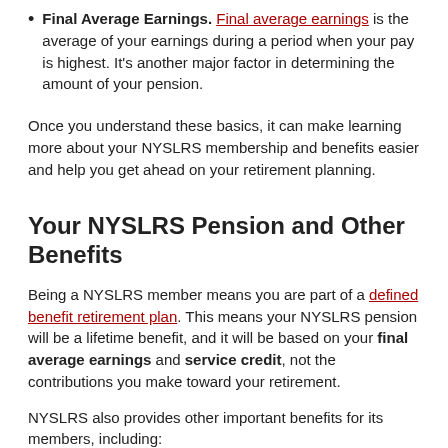Final Average Earnings. Final average earnings is the average of your earnings during a period when your pay is highest. It's another major factor in determining the amount of your pension.
Once you understand these basics, it can make learning more about your NYSLRS membership and benefits easier and help you get ahead on your retirement planning.
Your NYSLRS Pension and Other Benefits
Being a NYSLRS member means you are part of a defined benefit retirement plan. This means your NYSLRS pension will be a lifetime benefit, and it will be based on your final average earnings and service credit, not the contributions you make toward your retirement.
NYSLRS also provides other important benefits for its members, including: